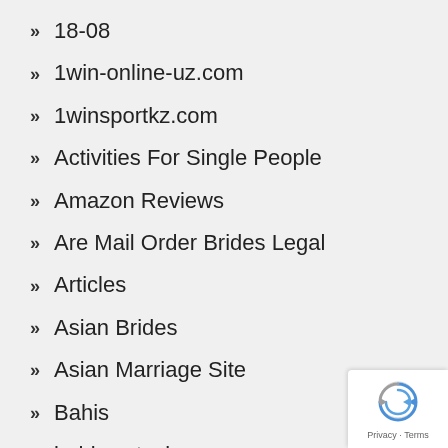18-08
1win-online-uz.com
1winsportkz.com
Activities For Single People
Amazon Reviews
Are Mail Order Brides Legal
Articles
Asian Brides
Asian Marriage Site
Bahis
bahis satesi
[Figure (other): reCAPTCHA badge with Privacy and Terms links]